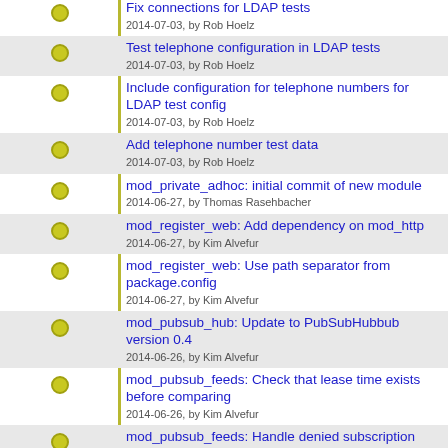Fix connections for LDAP tests
2014-07-03, by Rob Hoelz
Test telephone configuration in LDAP tests
2014-07-03, by Rob Hoelz
Include configuration for telephone numbers for LDAP test config
2014-07-03, by Rob Hoelz
Add telephone number test data
2014-07-03, by Rob Hoelz
mod_private_adhoc: initial commit of new module
2014-06-27, by Thomas Rasehbacher
mod_register_web: Add dependency on mod_http
2014-06-27, by Kim Alvefur
mod_register_web: Use path separator from package.config
2014-06-27, by Kim Alvefur
mod_pubsub_hub: Update to PubSubHubbub version 0.4
2014-06-26, by Kim Alvefur
mod_pubsub_feeds: Check that lease time exists before comparing
2014-06-26, by Kim Alvefur
mod_pubsub_feeds: Handle denied subscription requests
2014-06-26, by Kim Alvefur
mod_pubsub_feeds: Fix refreshing of subscriptions
2014-06-26, by Kim Alvefur
mod_pubsub_feeds: Update to 0.4
2014-06-26, by Kim Alvefur